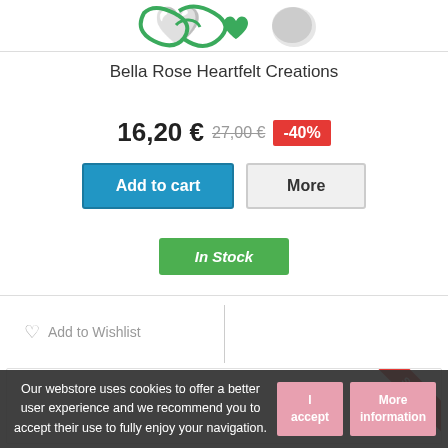[Figure (logo): Heartfelt Creations logo with decorative green swirl and heart motif]
Bella Rose Heartfelt Creations
16,20 € 27,00 € -40%
Add to cart | More
In Stock
♡ Add to Wishlist
[Figure (other): Product card with SALE! ribbon in red]
Our webstore uses cookies to offer a better user experience and we recommend you to accept their use to fully enjoy your navigation.